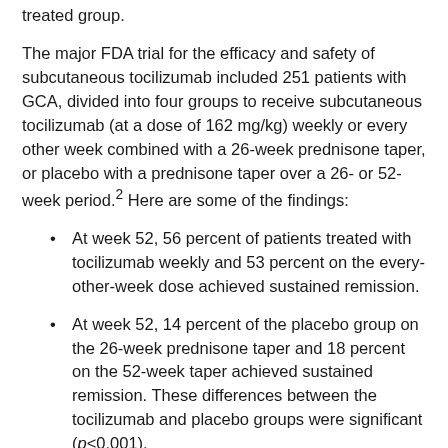treated group.
The major FDA trial for the efficacy and safety of subcutaneous tocilizumab included 251 patients with GCA, divided into four groups to receive subcutaneous tocilizumab (at a dose of 162 mg/kg) weekly or every other week combined with a 26-week prednisone taper, or placebo with a prednisone taper over a 26- or 52-week period.2 Here are some of the findings:
At week 52, 56 percent of patients treated with tocilizumab weekly and 53 percent on the every-other-week dose achieved sustained remission.
At week 52, 14 percent of the placebo group on the 26-week prednisone taper and 18 percent on the 52-week taper achieved sustained remission. These differences between the tocilizumab and placebo groups were significant (p<0.001).
Cumulative mean prednisone dose over one year was 1,862 mg in the tocilizumab groups, 3,296 mg in the placebo group on the 26-week taper and 3,818 mg